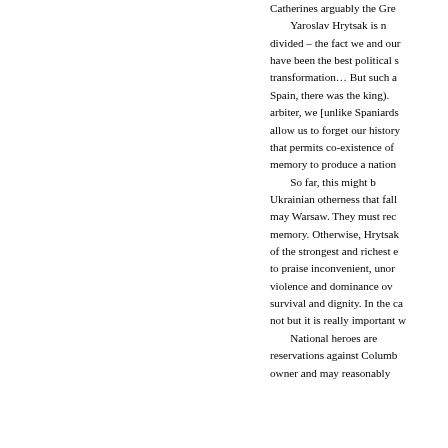Catherines arguably the Gre... Yaroslav Hrytsak is n... divided – the fact we and our... have been the best political s... transformation… But such a... Spain, there was the king).... arbiter, we [unlike Spaniards... allow us to forget our history... that permits co-existence of... memory to produce a nation... So far, this might b... Ukrainian otherness that fall... may Warsaw. They must rec... memory. Otherwise, Hrytsak... of the strongest and richest e... to praise inconvenient, unor... violence and dominance ov... survival and dignity. In the ca... not but it is really important w... National heroes are... reservations against Columb... owner and may reasonably